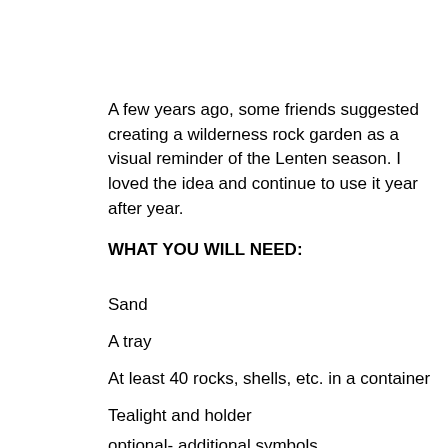A few years ago, some friends suggested creating a wilderness rock garden as a visual reminder of the Lenten season. I loved the idea and continue to use it year after year.
WHAT YOU WILL NEED:
Sand
A tray
At least 40 rocks, shells, etc. in a container
Tealight and holder
optional- additional symbols